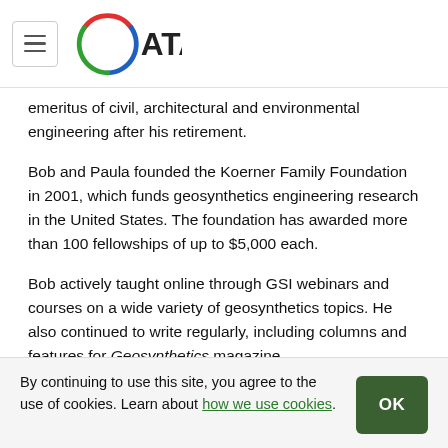ATA (logo)
emeritus of civil, architectural and environmental engineering after his retirement.
Bob and Paula founded the Koerner Family Foundation in 2001, which funds geosynthetics engineering research in the United States. The foundation has awarded more than 100 fellowships of up to $5,000 each.
Bob actively taught online through GSI webinars and courses on a wide variety of geosynthetics topics. He also continued to write regularly, including columns and features for Geosynthetics magazine.
Bob and Paula are survived by their three children—Michael (wife Mary) Koerner, George (wife Jamie) Koerner and
By continuing to use this site, you agree to the use of cookies. Learn about how we use cookies.